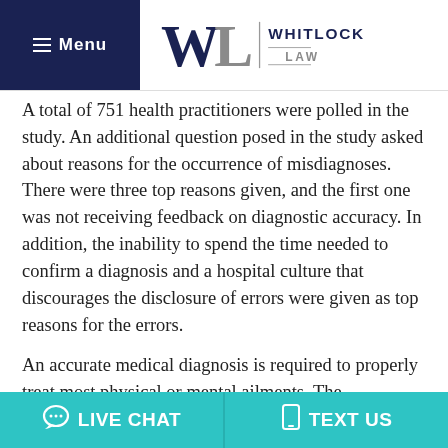Menu | WHITLOCK LAW
A total of 751 health practitioners were polled in the study. An additional question posed in the study asked about reasons for the occurrence of misdiagnoses. There were three top reasons given, and the first one was not receiving feedback on diagnostic accuracy. In addition, the inability to spend the time needed to confirm a diagnosis and a hospital culture that discourages the disclosure of errors were given as top reasons for the errors.
An accurate medical diagnosis is required to properly treat most physical or mental ailments. The ramifications of a misdiagnosis on a long-term prognosis are grave. If a person in Maryland believes
LIVE CHAT   TEXT US